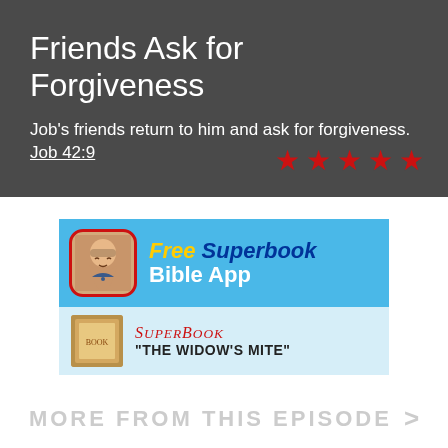Friends Ask for Forgiveness
Job's friends return to him and ask for forgiveness.
Job 42:9
[Figure (illustration): Five red star rating icons]
[Figure (infographic): Advertisement banner for Free Superbook Bible App with an icon of Jesus and blue background]
[Figure (infographic): Advertisement banner for Superbook 'The Widow's Mite' episode with book cover image]
MORE FROM THIS EPISODE  >